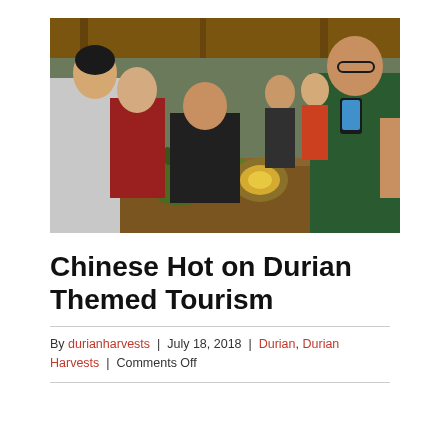[Figure (photo): Group of tourists gathered around a wooden table examining durian fruits under a thatched-roof shelter. A woman on the left is opening a durian while others watch and take photos.]
Chinese Hot on Durian Themed Tourism
By durianharvests | July 18, 2018 | Durian, Durian Harvests | Comments Off